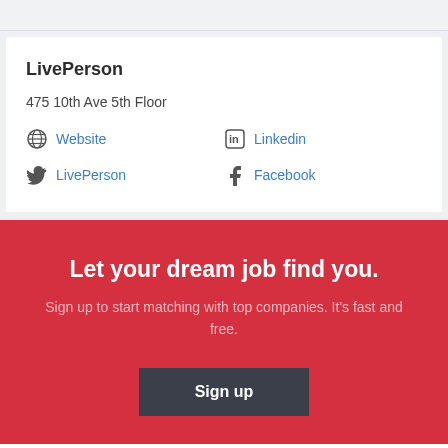LivePerson
475 10th Ave 5th Floor
Website
Linkedin
LivePerson
Facebook
Let your dream job find you.
Sign up to start matching with top companies. It's fast and free.
Sign up